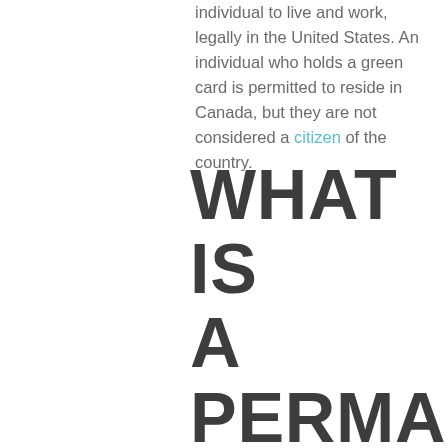individual to live and work, legally in the United States. An individual who holds a green card is permitted to reside in Canada, but they are not considered a citizen of the country.
WHAT IS A PERMANENT RESIDEN T?